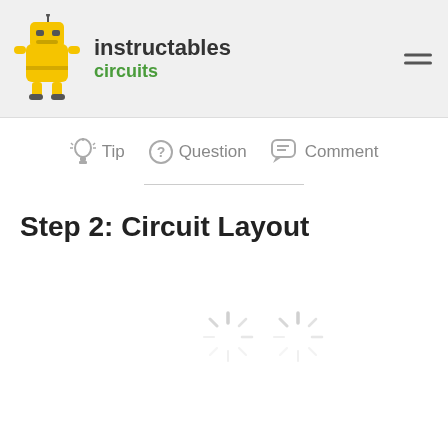instructables circuits
Tip   Question   Comment
Step 2: Circuit Layout
[Figure (other): Two loading spinner icons indicating images are still loading]